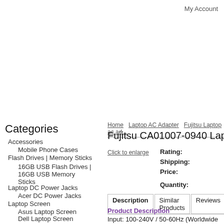My Account
Categories
Accessories
Mobile Phone Cases
Flash Drives | Memory Sticks
16GB USB Flash Drives | 16GB USB Memory Sticks
Laptop DC Power Jacks
Acer DC Power Jacks
Laptop Screen
Asus Laptop Screen
Dell Laptop Screen
Hp Laptop Screen
Acer Laptop Screen
Android Tablet PC
Home   Laptop AC Adapter   Fujitsu Laptop ac ad...
Fujitsu CA01007-0940 Lap...
Click to enlarge
Rating:
Shipping:
Price:
Quantity:
Description   Similar Products   Reviews
Product Description
Input: 100-240V / 50-60Hz (Worldwide Use)